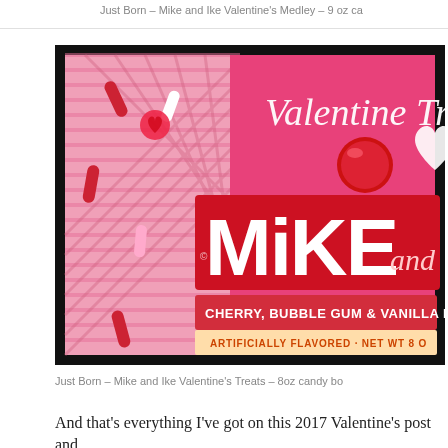Just Born – Mike and Ike Valentine's Medley – 9 oz ca
[Figure (photo): Mike and Ike Valentine's Treats candy box showing red and pink packaging with 'MiKE and' text, 'Valentine Tr...' script, cherry, bubble gum and vanilla flavors, candy pieces scattered on the box art.]
Just Born – Mike and Ike Valentine's Treats – 8oz candy bo
And that's everything I've got on this 2017 Valentine's post and